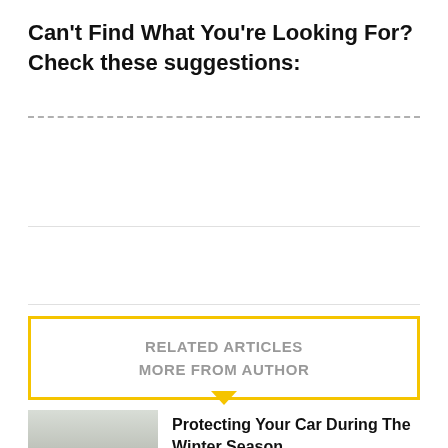Can't Find What You're Looking For? Check these suggestions:
RELATED ARTICLES
MORE FROM AUTHOR
Protecting Your Car During The Winter Season